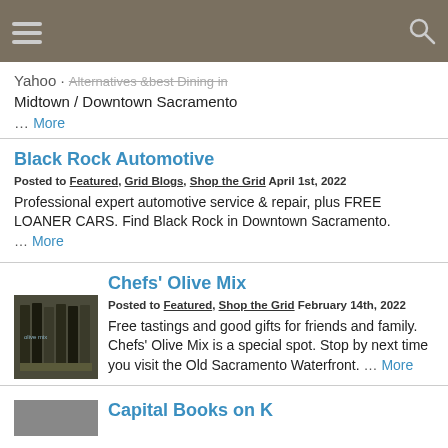Yahoo - Midtown / Downtown Sacramento … More
Black Rock Automotive
Posted to Featured, Grid Blogs, Shop the Grid April 1st, 2022
Professional expert automotive service & repair, plus FREE LOANER CARS. Find Black Rock in Downtown Sacramento. … More
Chefs' Olive Mix
Posted to Featured, Shop the Grid February 14th, 2022
Free tastings and good gifts for friends and family. Chefs' Olive Mix is a special spot. Stop by next time you visit the Old Sacramento Waterfront. … More
Capital Books on K